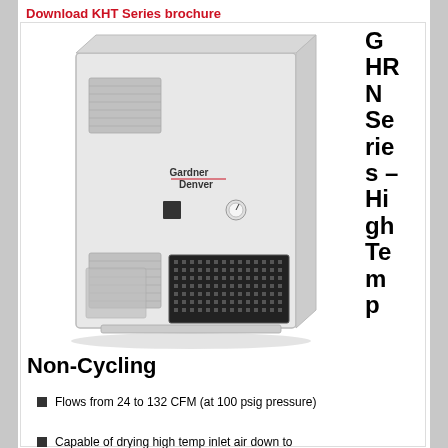Download KHT Series brochure
[Figure (photo): Gardner Denver GHRN Series High Temp refrigerated air dryer unit — a large white rectangular cabinet with vented panels and a grille at the bottom front.]
GHRN Series – High Temp
Non-Cycling
Flows from 24 to 132 CFM (at 100 psig pressure)
Capable of drying high temp inlet air down to